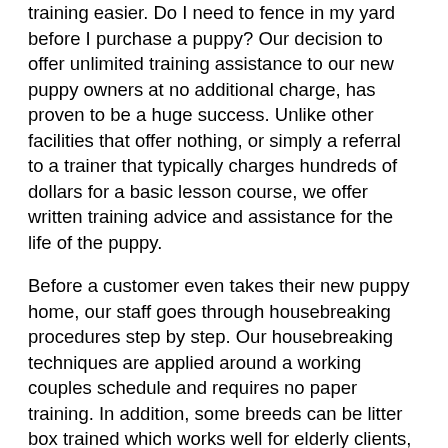training easier. Do I need to fence in my yard before I purchase a puppy? Our decision to offer unlimited training assistance to our new puppy owners at no additional charge, has proven to be a huge success. Unlike other facilities that offer nothing, or simply a referral to a trainer that typically charges hundreds of dollars for a basic lesson course, we offer written training advice and assistance for the life of the puppy.
Before a customer even takes their new puppy home, our staff goes through housebreaking procedures step by step. Our housebreaking techniques are applied around a working couples schedule and requires no paper training. In addition, some breeds can be litter box trained which works well for elderly clients, customers that work long hours, or apartment dwellers. Of course once the puppy is at home, the training goes further. Our staff are available by phone seven days a week for any questions or advice the